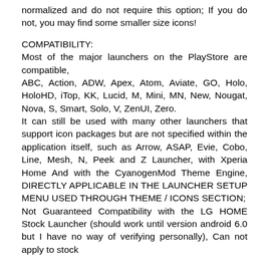normalized and do not require this option; If you do not, you may find some smaller size icons!
COMPATIBILITY:
Most of the major launchers on the PlayStore are compatible,
ABC, Action, ADW, Apex, Atom, Aviate, GO, Holo, HoloHD, iTop, KK, Lucid, M, Mini, MN, New, Nougat, Nova, S, Smart, Solo, V, ZenUI, Zero.
It can still be used with many other launchers that support icon packages but are not specified within the application itself, such as Arrow, ASAP, Evie, Cobo, Line, Mesh, N, Peek and Z Launcher, with Xperia Home And with the CyanogenMod Theme Engine, DIRECTLY APPLICABLE IN THE LAUNCHER SETUP MENU USED THROUGH THEME / ICONS SECTION;
Not Guaranteed Compatibility with the LG HOME Stock Launcher (should work until version android 6.0 but I have no way of verifying personally), Can not apply to stock